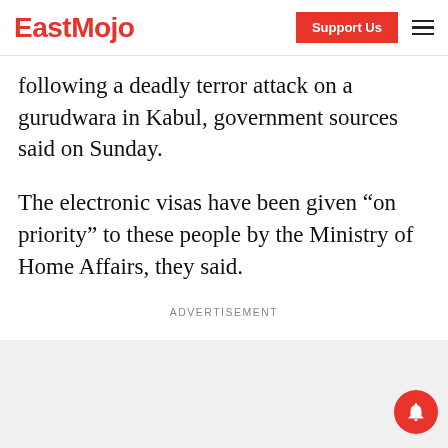EastMojo | Support Us
following a deadly terror attack on a gurudwara in Kabul, government sources said on Sunday.
The electronic visas have been given “on priority” to these people by the Ministry of Home Affairs, they said.
ADVERTISEMENT
[Figure (other): Advertisement placeholder box (grey background)]